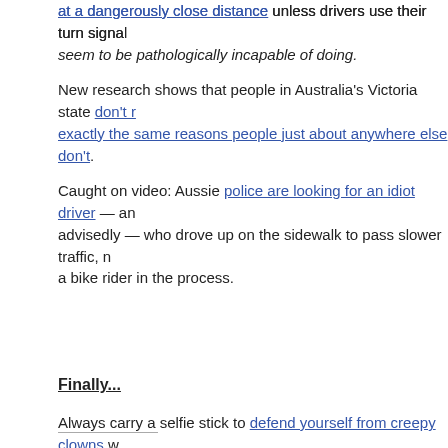at a dangerously close distance unless drivers use their turn signals, which drivers seem to be pathologically incapable of doing.
New research shows that people in Australia's Victoria state don't ride for exactly the same reasons people just about anywhere else don't.
Caught on video: Aussie police are looking for an idiot driver — and I use that word advisedly — who drove up on the sidewalk to pass slower traffic, nearly hitting a bike rider in the process.
Finally…
Always carry a selfie stick to defend yourself from creepy clowns while riding your bike. Don't ask drivers to put down their phones; just spray yourself with reflective paint until you glow like a clown, creepy or otherwise, so maybe they'll see you anyway.
And evidently, cyclocross isn't just a ride in the park.